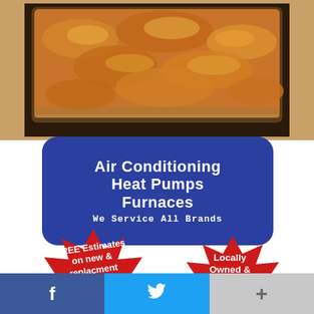[Figure (photo): A baked casserole dish with browned, cheesy top in a glass baking pan, photographed from above at an angle.]
[Figure (infographic): Blue rounded rectangle advertisement banner with white bold text: Air Conditioning / Heat Pumps / Furnaces / We Service All Brands]
[Figure (infographic): Two red starburst badge shapes: left badge reads 'FREE Estimates on new & replacment installations', right badge reads 'Locally Owned & Operated']
[Figure (infographic): Bottom social media bar with three sections: Facebook (blue, f icon), Twitter (cyan, bird icon), and a gray plus/share button]